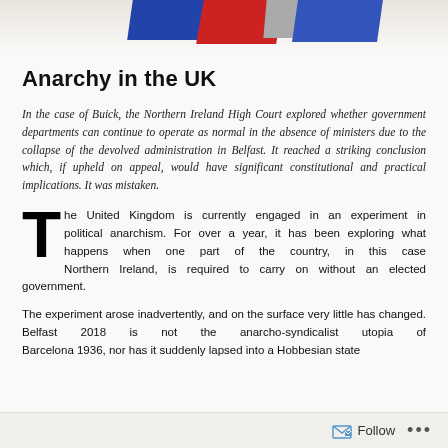[Figure (photo): Partial view of colorful objects (red, blue, grey) at the top of the page, likely a decorative header image.]
Anarchy in the UK
In the case of Buick, the Northern Ireland High Court explored whether government departments can continue to operate as normal in the absence of ministers due to the collapse of the devolved administration in Belfast. It reached a striking conclusion which, if upheld on appeal, would have significant constitutional and practical implications. It was mistaken.
The United Kingdom is currently engaged in an experiment in political anarchism. For over a year, it has been exploring what happens when one part of the country, in this case Northern Ireland, is required to carry on without an elected government.
The experiment arose inadvertently, and on the surface very little has changed. Belfast 2018 is not the anarcho-syndicalist utopia of Barcelona 1936, nor has it suddenly lapsed into a Hobbesian state
Follow